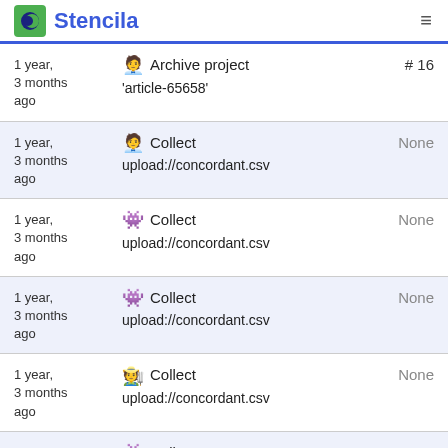Stencila
| Time | Action | ID |
| --- | --- | --- |
| 1 year, 3 months ago | Archive project 'article-65658' | # 16 |
| 1 year, 3 months ago | Collect upload://concordant.csv | None |
| 1 year, 3 months ago | Collect upload://concordant.csv | None |
| 1 year, 3 months ago | Collect upload://concordant.csv | None |
| 1 year, 3 months ago | Collect upload://concordant.csv | None |
| 1 year, 3 months ago | Collect upload://concordant.csv | None |